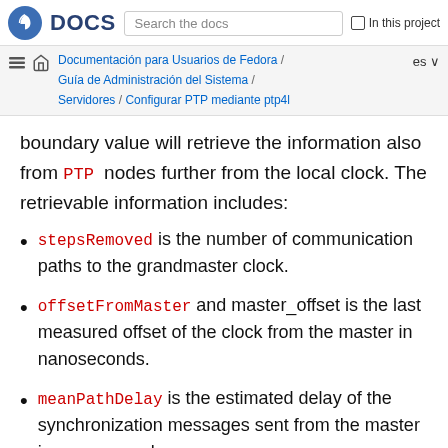Fedora DOCS | Search the docs | In this project
Documentación para Usuarios de Fedora / Guía de Administración del Sistema / Servidores / Configurar PTP mediante ptp4l
boundary value will retrieve the information also from PTP nodes further from the local clock. The retrievable information includes:
stepsRemoved is the number of communication paths to the grandmaster clock.
offsetFromMaster and master_offset is the last measured offset of the clock from the master in nanoseconds.
meanPathDelay is the estimated delay of the synchronization messages sent from the master in nanoseconds.